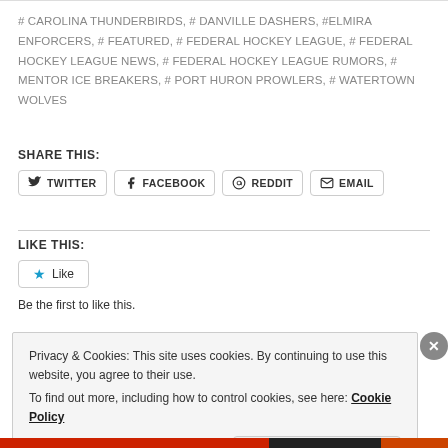# CAROLINA THUNDERBIRDS, # DANVILLE DASHERS, #ELMIRA ENFORCERS, # FEATURED, # FEDERAL HOCKEY LEAGUE, # FEDERAL HOCKEY LEAGUE NEWS, # FEDERAL HOCKEY LEAGUE RUMORS, # MENTOR ICE BREAKERS, # PORT HURON PROWLERS, # WATERTOWN WOLVES
SHARE THIS:
TWITTER FACEBOOK REDDIT EMAIL
LIKE THIS:
Like
Be the first to like this.
Privacy & Cookies: This site uses cookies. By continuing to use this website, you agree to their use.
To find out more, including how to control cookies, see here: Cookie Policy
Close and accept